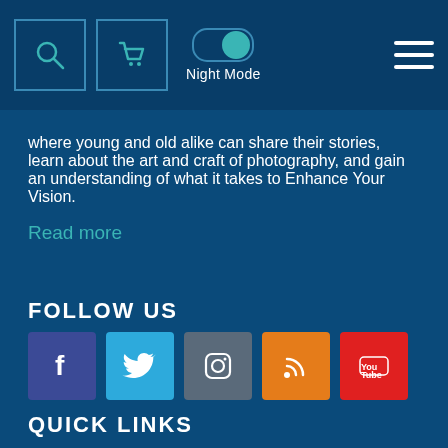[Figure (screenshot): Navigation bar with search icon, cart icon, night mode toggle, and hamburger menu]
where young and old alike can share their stories, learn about the art and craft of photography, and gain an understanding of what it takes to Enhance Your Vision.
Read more
FOLLOW US
[Figure (infographic): Social media icons: Facebook, Twitter, Instagram, RSS, YouTube]
QUICK LINKS
> Home
> Privacy Policy
> Articles
> Terms of Use
> Workshops
> Advertise With Us